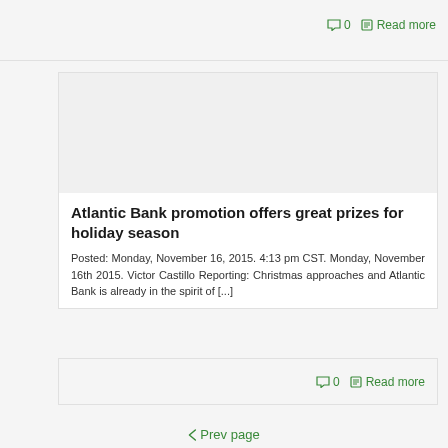0   Read more
[Figure (photo): Article image placeholder for Atlantic Bank promotion article]
Atlantic Bank promotion offers great prizes for holiday season
Posted: Monday, November 16, 2015. 4:13 pm CST. Monday, November 16th 2015. Victor Castillo Reporting: Christmas approaches and Atlantic Bank is already in the spirit of [...]
0   Read more
< Prev page